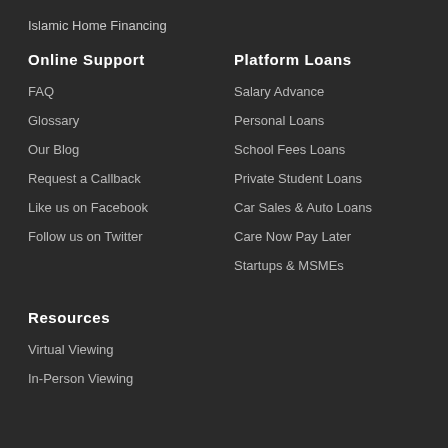Islamic Home Financing
Online Support
FAQ
Glossary
Our Blog
Request a Callback
Like us on Facebook
Follow us on Twitter
Platform Loans
Salary Advance
Personal Loans
School Fees Loans
Private Student Loans
Car Sales & Auto Loans
Care Now Pay Later
Startups & MSMEs
Resources
Virtual Viewing
In-Person Viewing